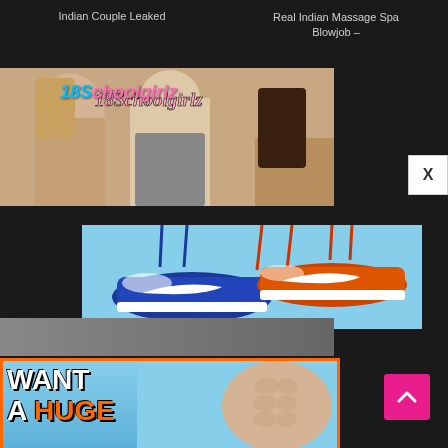Indian Couple Leaked
Real Indian Massage Spa Blowjob –
[Figure (screenshot): 18Schoolgirlz watermarked adult video thumbnail showing three young people]
[Figure (photo): Nike Dunk sneakers in blue/white and orange/white colorways hanging by their laces against blue background]
[Figure (photo): Partially visible image at bottom of first content block]
[Figure (advertisement): Ad with text WANT A HUGE over a male torso on blue background with orange border]